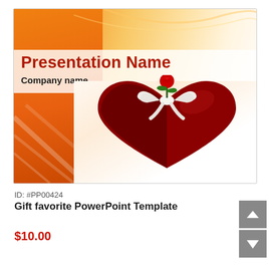[Figure (screenshot): PowerPoint template thumbnail showing a heart-shaped red gift box with a rose and white bow on an orange and white background, with 'Presentation Name' in red bold text and 'Company name' below it]
ID: #PP00424
Gift favorite PowerPoint Template
$10.00